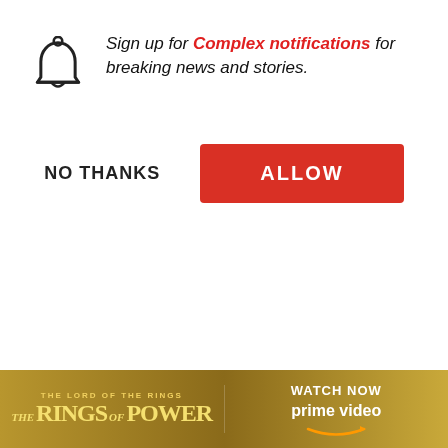Sign up for Complex notifications for breaking news and stories.
NO THANKS
ALLOW
Supreme x Nike Tr...
[Figure (photo): Video thumbnail showing a visual artist (man with beard) in front of colorful artwork]
Visual Artist NashidChromaIsM... Blossoms|Northern Clutch
[Figure (infographic): Advertisement banner for The Lord of the Rings: The Rings of Power on Prime Video]